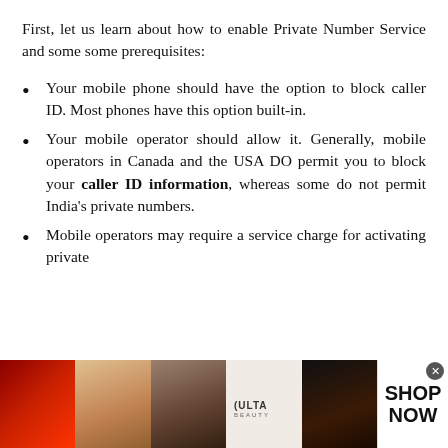First, let us learn about how to enable Private Number Service and some prerequisites:
Your mobile phone should have the option to block caller ID. Most phones have this option built-in.
Your mobile operator should allow it. Generally, mobile operators in Canada and the USA DO permit you to block your caller ID information, whereas some do not permit India's private numbers.
Mobile operators may require a service charge for activating private
[Figure (photo): Advertisement banner for ULTA Beauty showing makeup/beauty product images with lips, makeup brush, eye makeup, ULTA logo, and eyes, with a SHOP NOW call to action button and a close (x) icon.]